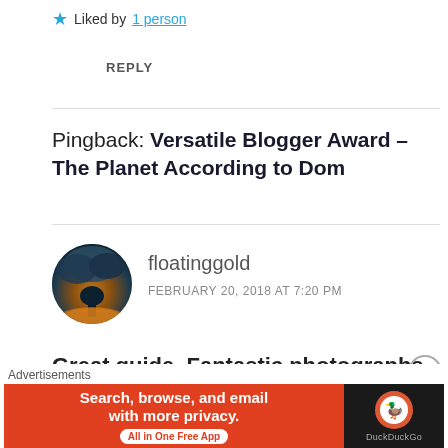★ Liked by 1 person
REPLY
Pingback: Versatile Blogger Award – The Planet According to Dom
[Figure (photo): Circular avatar image showing a dramatic storm cloud with orange/yellow light at the base, dark teal tones above]
floatinggold
FEBRUARY 20, 2018 AT 7:20 PM
Great guide. Fantastic photographs. It seems like everyone can find something for themselves to do
Advertisements
[Figure (screenshot): DuckDuckGo advertisement banner: orange section with 'Search, browse, and email with more privacy. All in One Free App' and dark section with DuckDuckGo logo]